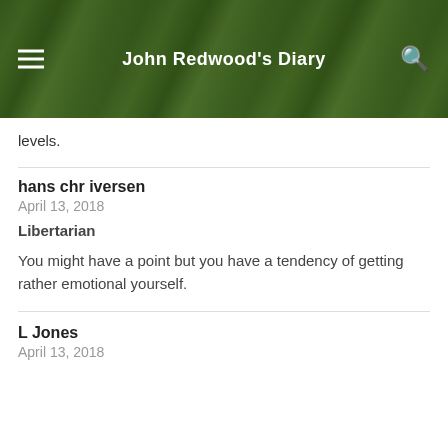John Redwood's Diary
levels.
hans chr iversen
April 13, 2018
Libertarian

You might have a point but you have a tendency of getting rather emotional yourself.
L Jones
April 13, 2018